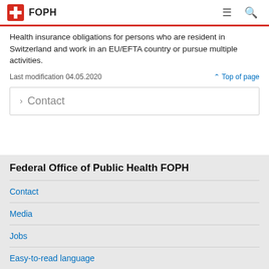FOPH
Health insurance obligations for persons who are resident in Switzerland and work in an EU/EFTA country or pursue multiple activities.
Last modification 04.05.2020
^ Top of page
> Contact
Federal Office of Public Health FOPH
Contact
Media
Jobs
Easy-to-read language